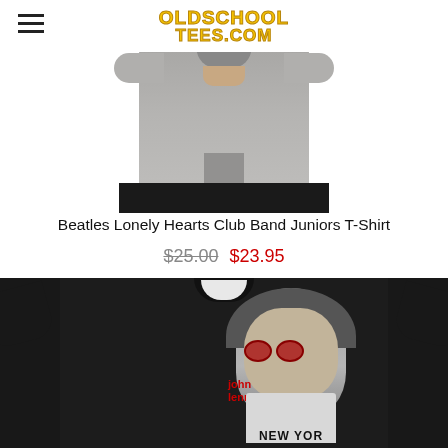OLDSCHOOL TEES.COM
[Figure (photo): Gray juniors t-shirt worn by a person, cropped to show torso]
Beatles Lonely Hearts Club Band Juniors T-Shirt
$25.00 $23.95
[Figure (photo): Black John Lennon t-shirt with photo of John Lennon wearing red heart-shaped sunglasses and text 'john lennon' and 'NEW YORK']